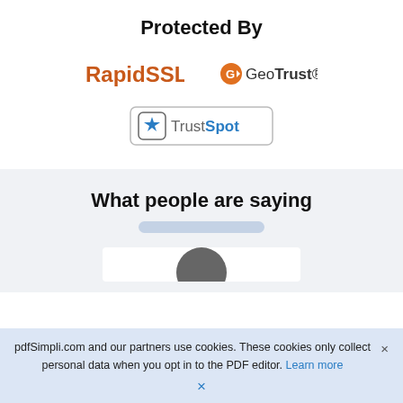Protected By
[Figure (logo): RapidSSL logo in orange-brown bold text with a period]
[Figure (logo): GeoTrust logo with orange circular icon and bold text]
[Figure (logo): TrustSpot logo with star badge icon and blue/gray text inside a rounded border]
What people are saying
[Figure (photo): Partially visible circular profile photo at the bottom of a white card]
pdfSimpli.com and our partners use cookies. These cookies only collect personal data when you opt in to the PDF editor. Learn more